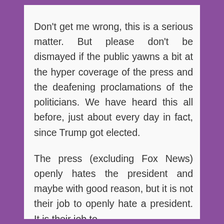Don't get me wrong, this is a serious matter. But please don't be dismayed if the public yawns a bit at the hyper coverage of the press and the deafening proclamations of the politicians. We have heard this all before, just about every day in fact, since Trump got elected.
The press (excluding Fox News) openly hates the president and maybe with good reason, but it is not their job to openly hate a president. It is their job to [report the bits of the facts...]